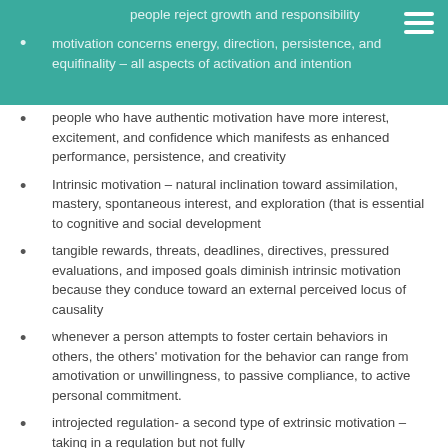people reject growth and responsibility
motivation concerns energy, direction, persistence, and equifinality – all aspects of activation and intention
people who have authentic motivation have more interest, excitement, and confidence which manifests as enhanced performance, persistence, and creativity
Intrinsic motivation – natural inclination toward assimilation, mastery, spontaneous interest, and exploration (that is essential to cognitive and social development
tangible rewards, threats, deadlines, directives, pressured evaluations, and imposed goals diminish intrinsic motivation because they conduce toward an external perceived locus of causality
whenever a person attempts to foster certain behaviors in others, the others' motivation for the behavior can range from amotivation or unwillingness, to passive compliance, to active personal commitment.
introjected regulation- a second type of extrinsic motivation – taking in a regulation but not fully